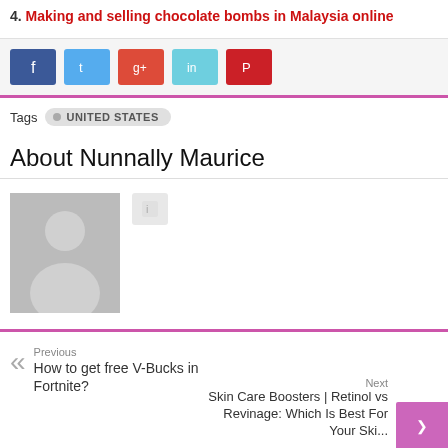4. Making and selling chocolate bombs in Malaysia online
[Figure (other): Social share buttons: Facebook (dark blue), Twitter (light blue), Google+ (orange-red), LinkedIn (teal), Pinterest (red)]
Tags • UNITED STATES
About Nunnally Maurice
[Figure (photo): Gray placeholder avatar with person silhouette and a small icon button]
Previous
How to get free V-Bucks in Fortnite?
Next
Skin Care Boosters | Retinol vs Revinage: Which Is Best For Your Ski...